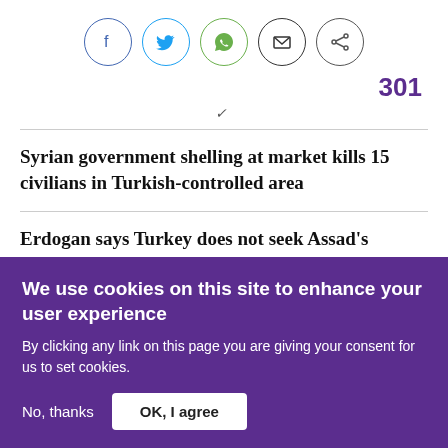[Figure (infographic): Social sharing icons in circles: Facebook (blue), Twitter (blue), WhatsApp (green), Email (black), Share (black)]
301
✓
Syrian government shelling at market kills 15 civilians in Turkish-controlled area
Erdogan says Turkey does not seek Assad's removal in Syria
We use cookies on this site to enhance your user experience
By clicking any link on this page you are giving your consent for us to set cookies.
No, thanks
OK, I agree